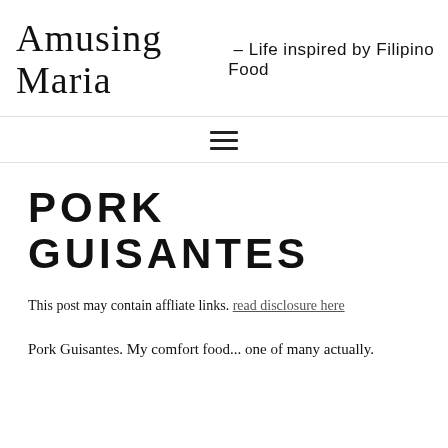Amusing Maria - Life inspired by Filipino Food
PORK GUISANTES
This post may contain affliate links. read disclosure here
Pork Guisantes. My comfort food... one of many actually.